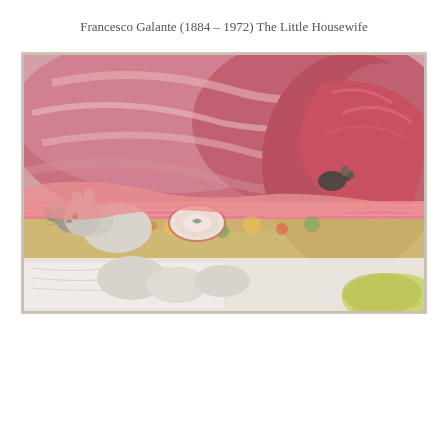Francesco Galante (1884 – 1972) The Little Housewife
[Figure (illustration): A watercolor/colored pencil painting by Francesco Galante showing mice under a large pink-red rumpled quilt or blanket. A white rabbit or mouse is visible on the left side, with other small mice peeking out. Beneath the draped fabric is a floral patterned surface with a decorative plate. The lower portion shows white fabric or bedding on a textured surface.]